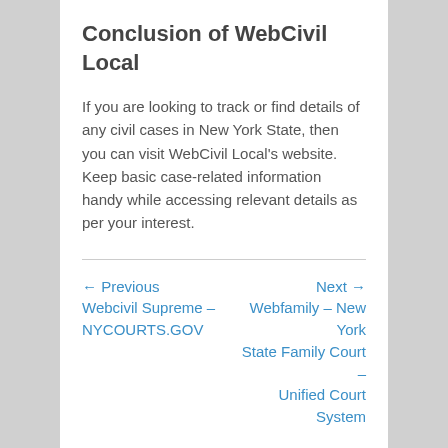Conclusion of WebCivil Local
If you are looking to track or find details of any civil cases in New York State, then you can visit WebCivil Local's website. Keep basic case-related information handy while accessing relevant details as per your interest.
← Previous
Webcivil Supreme – NYCOURTS.GOV
Next →
Webfamily – New York State Family Court – Unified Court System
Leave a Reply